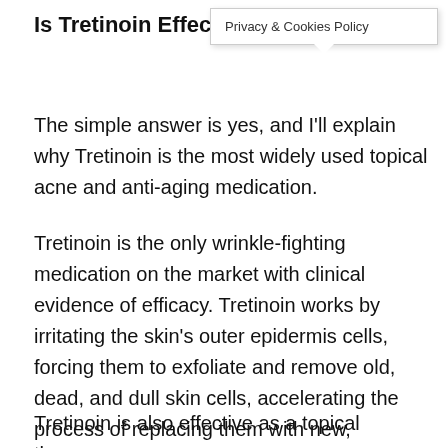Is Tretinoin Effecti…
[Figure (screenshot): Privacy & Cookies Policy popup box overlay]
The simple answer is yes, and I'll explain why Tretinoin is the most widely used topical acne and anti-aging medication.
Tretinoin is the only wrinkle-fighting medication on the market with clinical evidence of efficacy. Tretinoin works by irritating the skin's outer epidermis cells, forcing them to exfoliate and remove old, dead, and dull skin cells, accelerating the process of replacing them with new, brighter, younger, and fresher skin cells.
Tretinoin is also effective as a topical therapy